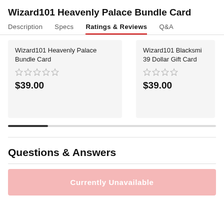Wizard101 Heavenly Palace Bundle Card
Description  Specs  Ratings & Reviews  Q&A
[Figure (other): Product card for Wizard101 Heavenly Palace Bundle Card showing 0 stars and price $39.00]
[Figure (other): Product card for Wizard101 Blacksmith 39 Dollar Gift Card showing 0 stars and price $39.00]
Questions & Answers
Currently Unavailable